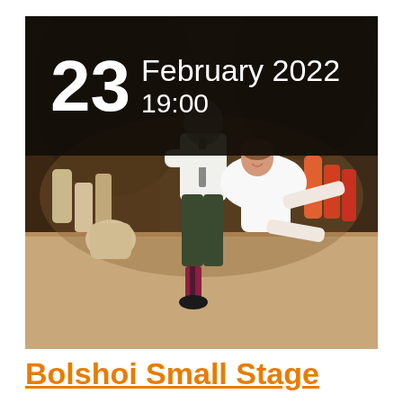[Figure (photo): Ballet performance on stage at Bolshoi. A male dancer in dark trousers and white shirt holds a female dancer in a white dress who is leaning back with legs lifted. Background shows other performers on a warmly lit stage set.]
23 February 2022 19:00
Bolshoi Small Stage